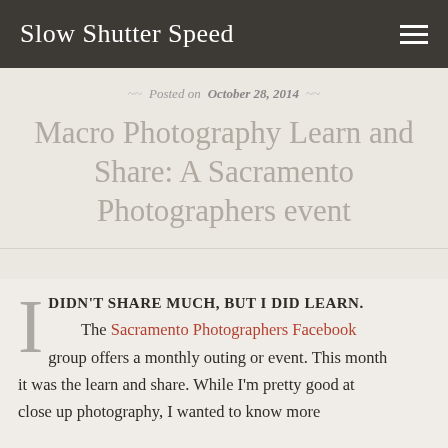Slow Shutter Speed
Posted on October 28, 2014
Macro Photography Learn and Share: A Sacramento Photographers event
I DIDN'T SHARE MUCH, BUT I DID LEARN. The Sacramento Photographers Facebook group offers a monthly outing or event. This month it was the learn and share. While I'm pretty good at close up photography, I wanted to know more